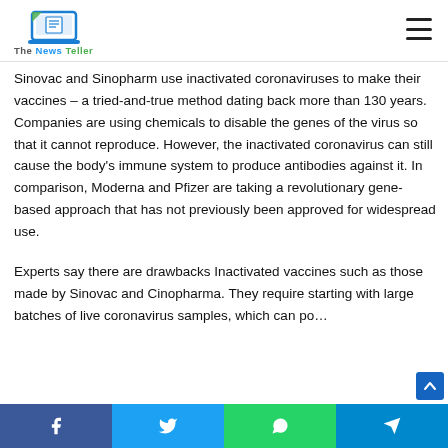The News Teller
Sinovac and Sinopharm use inactivated coronaviruses to make their vaccines – a tried-and-true method dating back more than 130 years. Companies are using chemicals to disable the genes of the virus so that it cannot reproduce. However, the inactivated coronavirus can still cause the body's immune system to produce antibodies against it. In comparison, Moderna and Pfizer are taking a revolutionary gene-based approach that has not previously been approved for widespread use.
Experts say there are drawbacks Inactivated vaccines such as those made by Sinovac and Cinopharma. They require starting with large batches of live coronavirus samples, which can po…